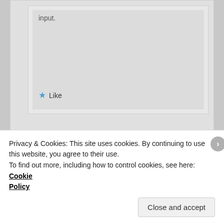input.
Like
Mina on June 21, 2016 at 11:15 AM said:
For future readers, check out MTHFR.net, histamine intolerance is usually caused by
Privacy & Cookies: This site uses cookies. By continuing to use this website, you agree to their use.
To find out more, including how to control cookies, see here: Cookie Policy
Close and accept